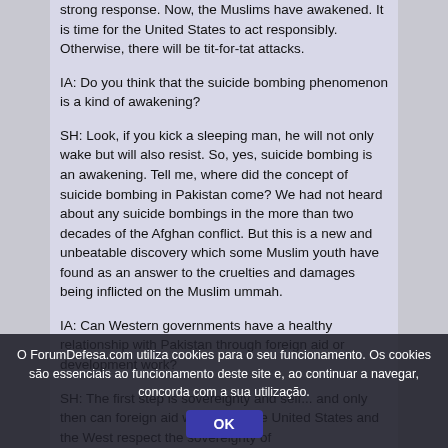strong response. Now, the Muslims have awakened. It is time for the United States to act responsibly. Otherwise, there will be tit-for-tat attacks.

IA: Do you think that the suicide bombing phenomenon is a kind of awakening?

SH: Look, if you kick a sleeping man, he will not only wake but will also resist. So, yes, suicide bombing is an awakening. Tell me, where did the concept of suicide bombing in Pakistan come? We had not heard about any suicide bombings in the more than two decades of the Afghan conflict. But this is a new and unbeatable discovery which some Muslim youth have found as an answer to the cruelties and damages being inflicted on the Muslim ummah.

IA: Can Western governments have a healthy relationship with Pakistan through foreign aid or development work?

SH: The first step is sovereignty and self... and only then can foreign aid work. Until the United States and the West respect the sovereignty of
O ForumDefesa.com utiliza cookies para o seu funcionamento. Os cookies são essenciais ao funcionamento deste site e, ao continuar a navegar, concorda com a sua utilização.